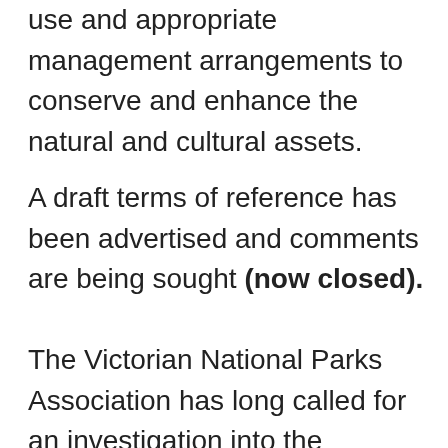use and appropriate management arrangements to conserve and enhance the natural and cultural assets.
A draft terms of reference has been advertised and comments are being sought (now closed).
The Victorian National Parks Association has long called for an investigation into the conservation values of the area's forests, and